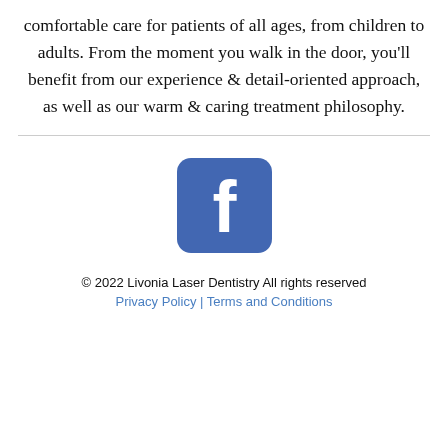comfortable care for patients of all ages, from children to adults. From the moment you walk in the door, you'll benefit from our experience & detail-oriented approach, as well as our warm & caring treatment philosophy.
[Figure (logo): Facebook logo icon — blue rounded square with white lowercase 'f']
© 2022 Livonia Laser Dentistry All rights reserved
Privacy Policy | Terms and Conditions